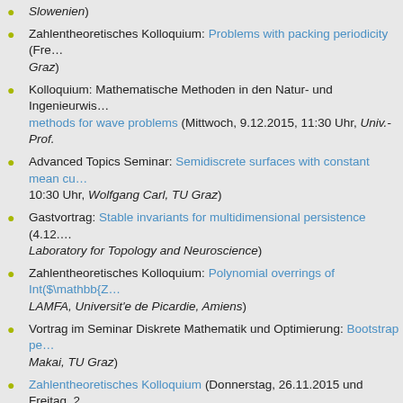Slowenien)
Zahlentheoretisches Kolloquium: Problems with packing periodicity (Fre… Graz)
Kolloquium: Mathematische Methoden in den Natur- und Ingenieurwis… methods for wave problems (Mittwoch, 9.12.2015, 11:30 Uhr, Univ.-Prof.…
Advanced Topics Seminar: Semidiscrete surfaces with constant mean cu… 10:30 Uhr, Wolfgang Carl, TU Graz)
Gastvortrag: Stable invariants for multidimensional persistence (4.12.… Laboratory for Topology and Neuroscience)
Zahlentheoretisches Kolloquium: Polynomial overrings of Int($\mathbb{Z… LAMFA, Universit'e de Picardie, Amiens)
Vortrag im Seminar Diskrete Mathematik und Optimierung: Bootstrap pe… Makai, TU Graz)
Zahlentheoretisches Kolloquium (Donnerstag, 26.11.2015 und Freitag, 2…
Zahlentheoretisches Kolloquium: Intersection of polynomial orbits over… Ostafe, UNSW, Sydney)
Strukturtheorie-Seminar: Spectra of BBS automata (Freitag, 20.11.2015,…
Vorstellungsvortrag: Optimales Investment für Versicherer (Donnerstag… Graz)
Seminar Angewandte Analysis und Numerische Mathematik: Asympto… domain (26.11.2015, 15:00 Uhr, Philipp Schmitz, TU Ilmenau)
Seminar Angewandte Analysis und Numerische Mathematik: Eigenva… squares (26.11.2015, 14:00 Uhr, Prof. Dr. Carsten Trunk, TU Ilmenau)
Zahlentheoretisches Kolloquium (Mittwoch, 18. 11. 2015, ab 14:15 Uhr,…